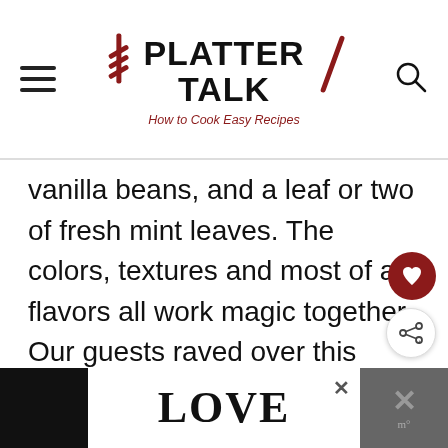PLATTER TALK — How to Cook Easy Recipes
vanilla beans, and a leaf or two of fresh mint leaves. The colors, textures and most of all flavors all work magic together. Our guests raved over this rhubarb cake.
[Figure (screenshot): Bottom advertisement bar showing 'LOVE' graphic text with decorative letters, close button, and a dark overlay panel on the right]